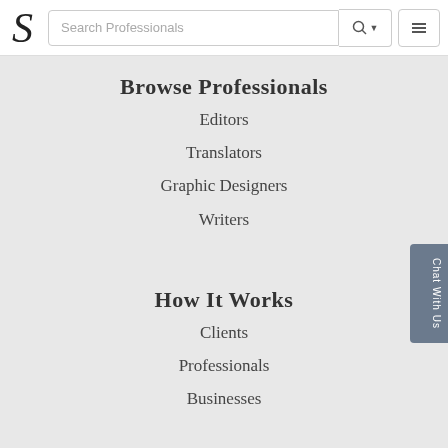Search Professionals
Browse Professionals
Editors
Translators
Graphic Designers
Writers
How It Works
Clients
Professionals
Businesses
Work With Us